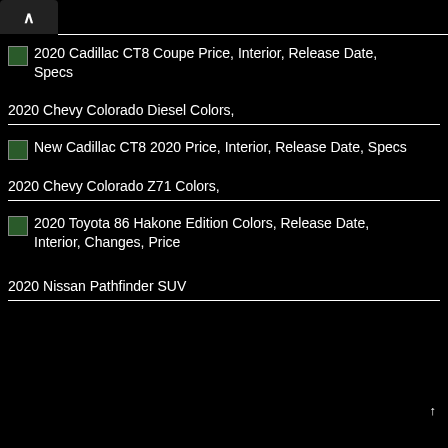2020 Cadillac CT8 Coupe Price, Interior, Release Date, Specs
2020 Chevy Colorado Diesel Colors,
New Cadillac CT8 2020 Price, Interior, Release Date, Specs
2020 Chevy Colorado Z71 Colors,
2020 Toyota 86 Hakone Edition Colors, Release Date, Interior, Changes, Price
2020 Nissan Pathfinder SUV